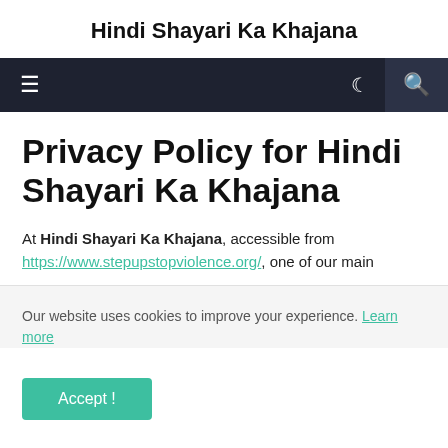Hindi Shayari Ka Khajana
Privacy Policy for Hindi Shayari Ka Khajana
At Hindi Shayari Ka Khajana, accessible from https://www.stepupstopviolence.org/, one of our main
Our website uses cookies to improve your experience. Learn more
Accept !